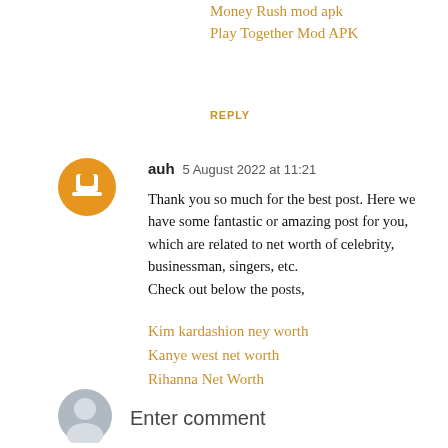Money Rush mod apk
Play Together Mod APK
REPLY
auh  5 August 2022 at 11:21
Thank you so much for the best post. Here we have some fantastic or amazing post for you, which are related to net worth of celebrity, businessman, singers, etc.
Check out below the posts,
Kim kardashion ney worth
Kanye west net worth
Rihanna Net Worth
Snoop Doogs Net worth
Donald Trumps net worth
REPLY
Enter comment